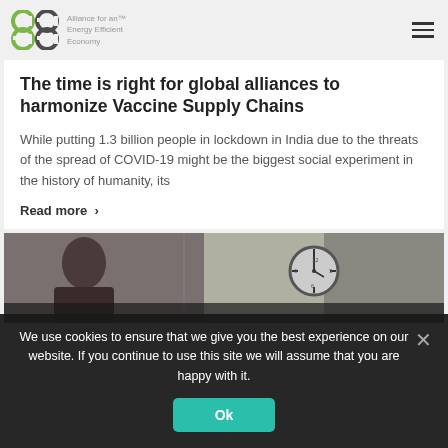Alliance for an Energy Efficient Economy
The time is right for global alliances to harmonize Vaccine Supply Chains
While putting 1.3 billion people in lockdown in India due to the threats of the spread of COVID-19 might be the biggest social experiment in the history of humanity, its
Read more >
[Figure (photo): Photo strip showing a person and a wall clock in background]
We use cookies to ensure that we give you the best experience on our website. If you continue to use this site we will assume that you are happy with it.